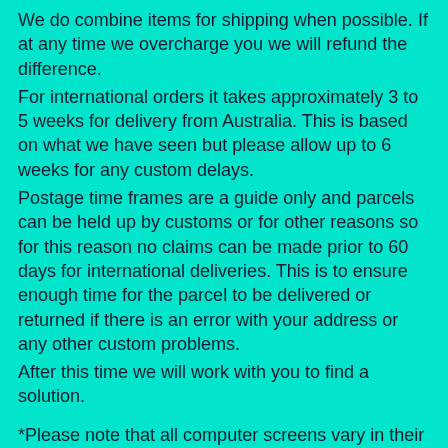We do combine items for shipping when possible. If at any time we overcharge you we will refund the difference.
For international orders it takes approximately 3 to 5 weeks for delivery from Australia. This is based on what we have seen but please allow up to 6 weeks for any custom delays.
Postage time frames are a guide only and parcels can be held up by customs or for other reasons so for this reason no claims can be made prior to 60 days for international deliveries. This is to ensure enough time for the parcel to be delivered or returned if there is an error with your address or any other custom problems.
After this time we will work with you to find a solution.
*Please note that all computer screens vary in their colour profile so the actual colour on the item may appear different onscreen.
*Sorry we offer no refunds or exchanges due to hygiene.
Please view my shop for matching items:
http://www.etsy.com/shop/MiraculousDesignsAus